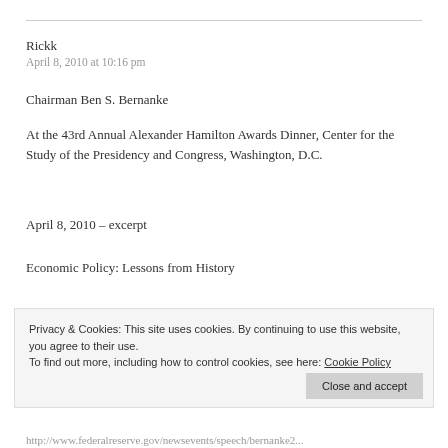Rickk
April 8, 2010 at 10:16 pm
Chairman Ben S. Bernanke
At the 43rd Annual Alexander Hamilton Awards Dinner, Center for the Study of the Presidency and Congress, Washington, D.C.
April 8, 2010 – excerpt
Economic Policy: Lessons from History
Privacy & Cookies: This site uses cookies. By continuing to use this website, you agree to their use.
To find out more, including how to control cookies, see here: Cookie Policy
Close and accept
http://www.federalreserve.gov/newsevents/speech/bernanke2...